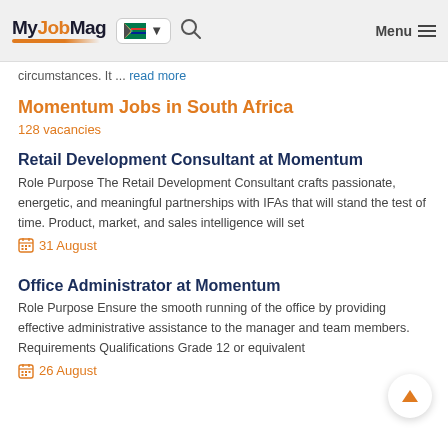MyJobMag — Menu
circumstances. It ... read more
Momentum Jobs in South Africa
128 vacancies
Retail Development Consultant at Momentum
Role Purpose The Retail Development Consultant crafts passionate, energetic, and meaningful partnerships with IFAs that will stand the test of time. Product, market, and sales intelligence will set
31 August
Office Administrator at Momentum
Role Purpose Ensure the smooth running of the office by providing effective administrative assistance to the manager and team members. Requirements Qualifications Grade 12 or equivalent
26 August